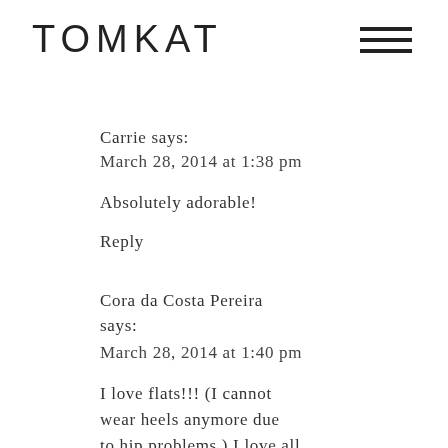TOMKAT
Carrie says:
March 28, 2014 at 1:38 pm
Absolutely adorable!
Reply
Cora da Costa Pereira says:
March 28, 2014 at 1:40 pm
I love flats!!! (I cannot wear heels anymore due to hip problems.) I love all